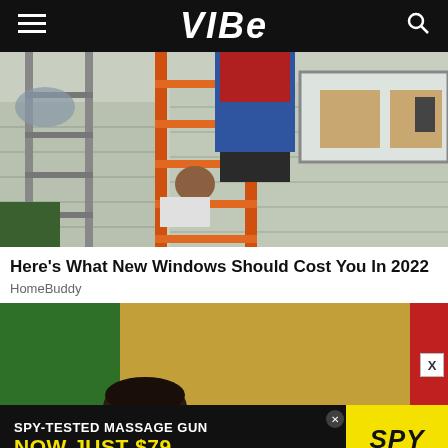VIBE
[Figure (photo): People working on installing windows on a house exterior, with an orange ladder in the foreground and a person in jeans and red shirt near the second floor.]
Here's What New Windows Should Cost You In 2022
HomeBuddy
[Figure (photo): Advertisement image with green, gold/tan textured background and red strip on right, showing top of a person's head at bottom.]
[Figure (infographic): Bottom ad banner: SPY-TESTED MASSAGE GUN NOW JUST $79 with SPY logo on yellow background]